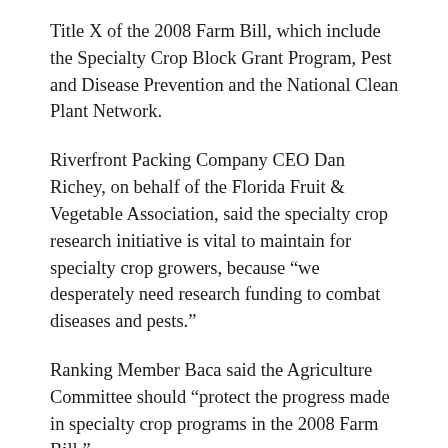Title X of the 2008 Farm Bill, which include the Specialty Crop Block Grant Program, Pest and Disease Prevention and the National Clean Plant Network.
Riverfront Packing Company CEO Dan Richey, on behalf of the Florida Fruit & Vegetable Association, said the specialty crop research initiative is vital to maintain for specialty crop growers, because “we desperately need research funding to combat diseases and pests.”
Ranking Member Baca said the Agriculture Committee should “protect the progress made in specialty crop programs in the 2008 Farm Bill.”
“Today’s hearing provided ample evidence that our current specialty crop support initiatives work well, and are vital to the continued strength of America’s agriculture economy,” Baca